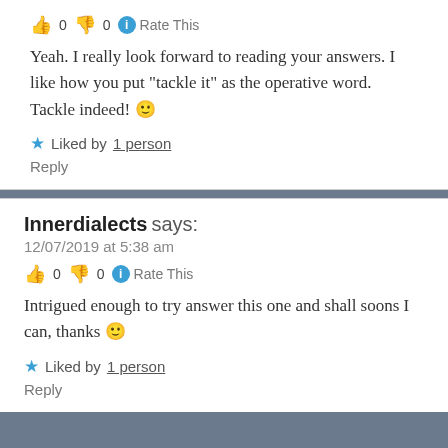Yeah. I really look forward to reading your answers. I like how you put “tackle it” as the operative word. Tackle indeed! 🙂
★ Liked by 1 person
Reply
Innerdialects says:
12/07/2019 at 5:38 am
👍 0 👎 0 ℹ Rate This
Intrigued enough to try answer this one and shall soons I can, thanks 🙂
★ Liked by 1 person
Reply